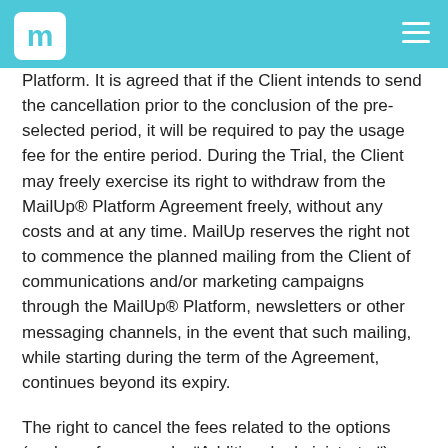MailUp logo and navigation
Platform. It is agreed that if the Client intends to send the cancellation prior to the conclusion of the pre-selected period, it will be required to pay the usage fee for the entire period. During the Trial, the Client may freely exercise its right to withdraw from the MailUp® Platform Agreement freely, without any costs and at any time. MailUp reserves the right not to commence the planned mailing from the Client of communications and/or marketing campaigns through the MailUp® Platform, newsletters or other messaging channels, in the event that such mailing, while starting during the term of the Agreement, continues beyond its expiry.
The right to cancel the fees related to the options (such as, for example, ¨Additional administrator¨) must be exercised in accordance with the same methods indicated above (Registered Letter with return receipt or Certified E-mail or through a special function available in